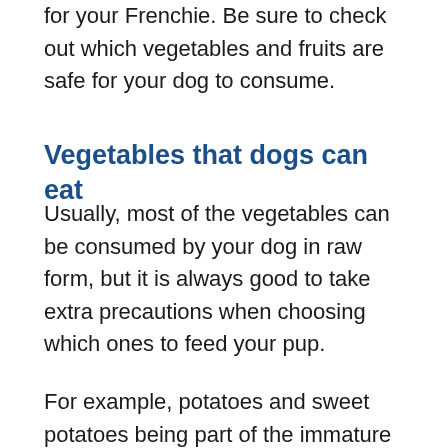for your Frenchie. Be sure to check out which vegetables and fruits are safe for your dog to consume.
Vegetables that dogs can eat
Usually, most of the vegetables can be consumed by your dog in raw form, but it is always good to take extra precautions when choosing which ones to feed your pup.
For example, potatoes and sweet potatoes being part of the immature plant category, contain Solanine, which is a toxin that should not be consumed, and therefore you need to either boil them or cook them after